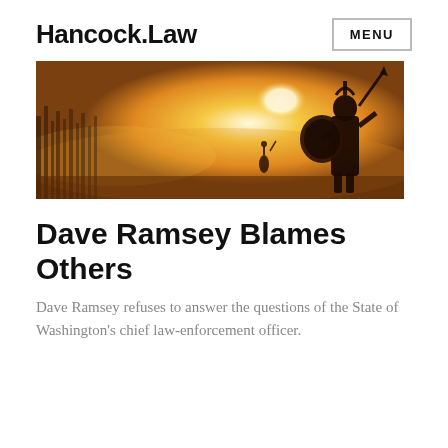Hancock.Law
[Figure (photo): Silhouette of a Spartan warrior with shield and spear facing a smaller figure in a golden misty battlefield scene]
Dave Ramsey Blames Others
Dave Ramsey refuses to answer the questions of the State of Washington’s chief law-enforcement officer.